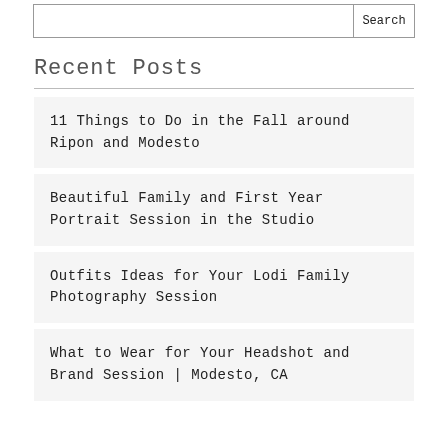Search
Recent Posts
11 Things to Do in the Fall around Ripon and Modesto
Beautiful Family and First Year Portrait Session in the Studio
Outfits Ideas for Your Lodi Family Photography Session
What to Wear for Your Headshot and Brand Session | Modesto, CA